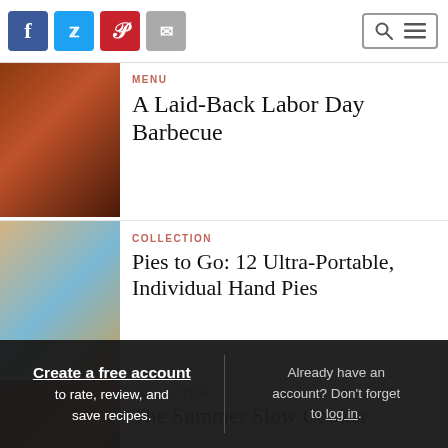Social share icons: Facebook, Twitter, Pinterest, Email; Search and menu navigation
[Figure (photo): Grilled BBQ chicken on a platter]
MENU
A Laid-Back Labor Day Barbecue
[Figure (photo): Individual hand pies on a blue surface]
COLLECTION
Pies to Go: 12 Ultra-Portable, Individual Hand Pies
[Figure (photo): Summer slow cooker dish with vegetables]
COLLECTION
The Summer Slow Cooker
Create a free account to rate, review, and save recipes. Already have an account? Don't forget to log in.